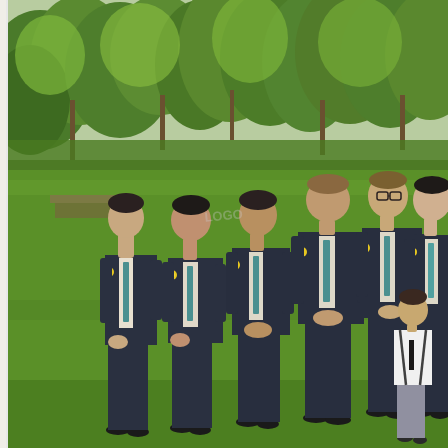[Figure (photo): Outdoor wedding party photo showing six groomsmen and one young boy (ring bearer) standing on a green lawn. The men wear charcoal/dark grey suits with teal/mint ties and yellow boutonnières. The boy wears a white shirt with suspenders. Background shows lush green trees and grass on a spring day. The group is arranged in a diagonal line from left to right.]